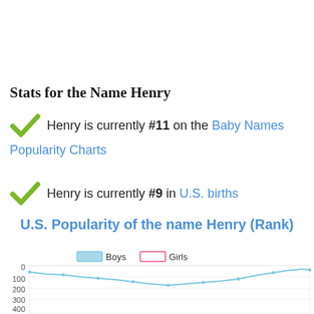Stats for the Name Henry
Henry is currently #11 on the Baby Names Popularity Charts
Henry is currently #9 in U.S. births
U.S. Popularity of the name Henry (Rank)
[Figure (line-chart): Line chart showing rank of name Henry for boys and girls over time. Boys line starts around rank 55, dips to about 200, then rises back toward rank 10-20. Girls line is mostly absent/flat.]